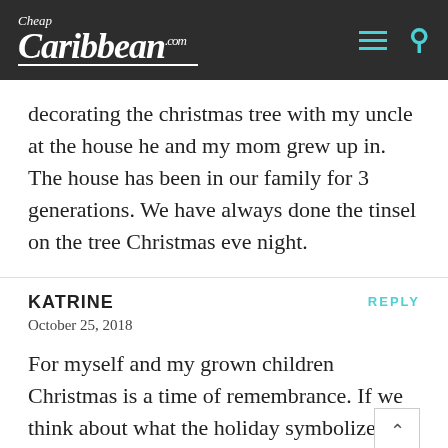Cheap Caribbean .com
decorating the christmas tree with my uncle at the house he and my mom grew up in. The house has been in our family for 3 generations. We have always done the tinsel on the tree Christmas eve night.
KATRINE
October 25, 2018
For myself and my grown children Christmas is a time of remembrance. If we think about what the holiday symbolizes,